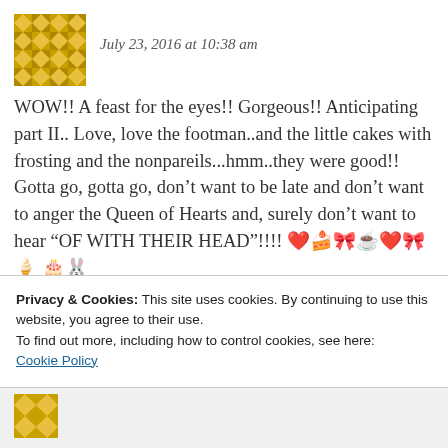July 23, 2016 at 10:38 am
WOW!! A feast for the eyes!! Gorgeous!! Anticipating part II.. Love, love the footman..and the little cakes with frosting and the nonpareils...hmm..they were good!! Gotta go, gotta go, don't want to be late and don't want to anger the Queen of Hearts and, surely don't want to hear “OF WITH THEIR HEAD”!!!! 💙🍰🎀☕💙🎀🍤 🎂🐰
Privacy & Cookies: This site uses cookies. By continuing to use this website, you agree to their use.
To find out more, including how to control cookies, see here:
Cookie Policy
Close and accept